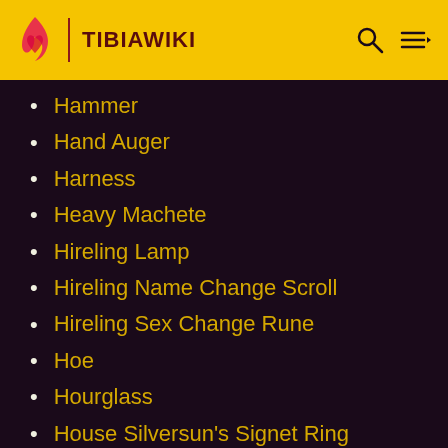TIBIAWIKI
Hammer
Hand Auger
Harness
Heavy Machete
Hireling Lamp
Hireling Name Change Scroll
Hireling Sex Change Rune
Hoe
Hourglass
House Silversun's Signet Ring
Hunting Horn
Inert Astral Shaper Rune
Inkwell
Iron Loadstone